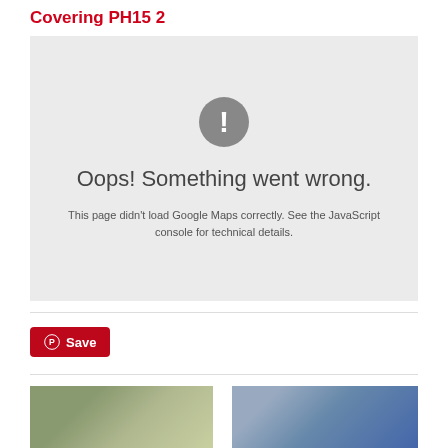Covering PH15 2
[Figure (screenshot): Google Maps error box with grey background showing exclamation icon and text: Oops! Something went wrong. This page didn't load Google Maps correctly. See the JavaScript console for technical details.]
[Figure (other): Pinterest Save button (red, with Pinterest logo)]
[Figure (photo): Partial photo of a car, left side, green/grey background]
[Figure (photo): Partial photo of a blue car against a light grey background]